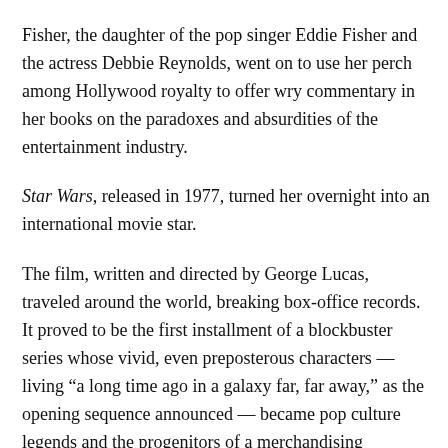Fisher, the daughter of the pop singer Eddie Fisher and the actress Debbie Reynolds, went on to use her perch among Hollywood royalty to offer wry commentary in her books on the paradoxes and absurdities of the entertainment industry.
Star Wars, released in 1977, turned her overnight into an international movie star.
The film, written and directed by George Lucas, traveled around the world, breaking box-office records. It proved to be the first installment of a blockbuster series whose vivid, even preposterous characters — living “a long time ago in a galaxy far, far away,” as the opening sequence announced — became pop culture legends and the progenitors of a merchandising bonanza.
Fisher published Carrie & ...